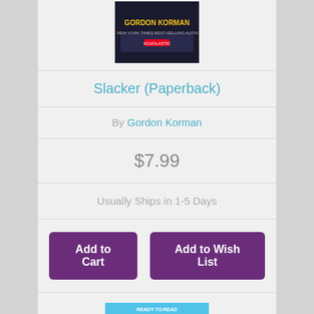[Figure (photo): Top portion of book cover for Slacker by Gordon Korman, showing dark background with Scholastic logo]
Slacker (Paperback)
By Gordon Korman
$7.99
Usually Ships in 1-5 Days
Add to Cart | Add to Wish List
[Figure (photo): Book cover for 'Ready to Read: The Adventures of Otto: See Pip Flap' by David Milgrim, showing cartoon robot characters]